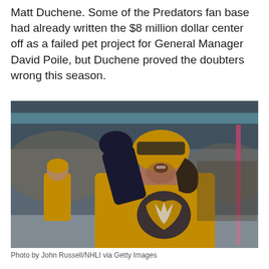Matt Duchene. Some of the Predators fan base had already written the $8 million dollar center off as a failed pet project for General Manager David Poile, but Duchene proved the doubters wrong this season.
[Figure (photo): Hockey player in Nashville Predators yellow jersey celebrating on ice, raising a gloved fist, wearing helmet with visor, fans in background. Nashville Predators logo visible on jersey.]
Photo by John Russell/NHLI via Getty Images